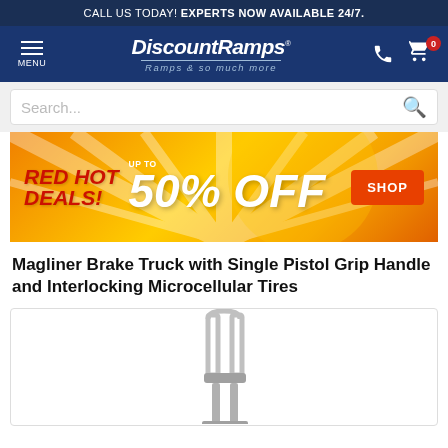CALL US TODAY! EXPERTS NOW AVAILABLE 24/7.
[Figure (logo): DiscountRamps logo with tagline 'Ramps & so much more' on navy blue navigation bar with menu icon, phone icon, and shopping cart icon showing badge '0']
Search...
[Figure (infographic): Red Hot Deals banner - orange/yellow background with 'RED HOT DEALS! UP TO 50% OFF' and red SHOP button]
Magliner Brake Truck with Single Pistol Grip Handle and Interlocking Microcellular Tires
[Figure (photo): Product photo of Magliner Brake Truck handle - silver metal pistol grip handle visible against white background]